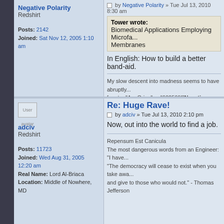by Negative Polarity » Tue Jul 13, 2010 8:30 am
Tower wrote: Biomedical Applications Employing Microfa... Membranes
In English: How to build a better band-aid.
My slow descent into madness seems to have abruptly... [quote="Arc Orion";p="602569"]Negative Polarity, you're a sick...
Negative Polarity
Redshirt
Posts: 2142
Joined: Sat Nov 12, 2005 1:10 am
Re: Huge Rave!
by adciv » Tue Jul 13, 2010 2:10 pm
Now, out into the world to find a job.
adciv
Redshirt
Posts: 11723
Joined: Wed Aug 31, 2005 12:20 am
Real Name: Lord Al-Briaca
Location: Middle of Nowhere, MD
Repensum Est Canicula
The most dangerous words from an Engineer: "I have..."
"The democracy will cease to exist when you take awa... and give to those who would not." - Thomas Jefferson
Re: Huge Rave!